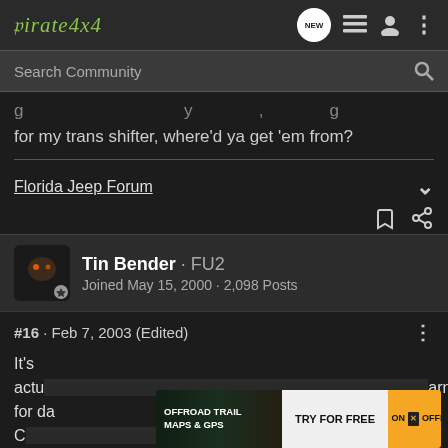Pirate4x4
Search Community
for my trans shifter, where'd ya get 'em from?
Florida Jeep Forum
Tin Bender · FU2
Joined May 15, 2000 · 2,098 Posts
#16 · Feb 7, 2003 (Edited)
It's actu... arnage
for da C...
[Figure (screenshot): Advertisement banner: OFFROAD TRAIL MAPS & GPS - TRY FOR FREE - ON X OFFROAD]